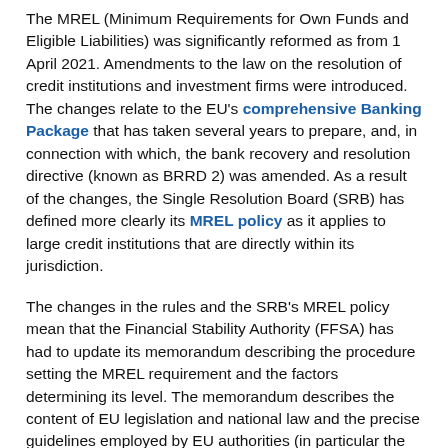The MREL (Minimum Requirements for Own Funds and Eligible Liabilities) was significantly reformed as from 1 April 2021. Amendments to the law on the resolution of credit institutions and investment firms were introduced. The changes relate to the EU's comprehensive Banking Package that has taken several years to prepare, and, in connection with which, the bank recovery and resolution directive (known as BRRD 2) was amended. As a result of the changes, the Single Resolution Board (SRB) has defined more clearly its MREL policy as it applies to large credit institutions that are directly within its jurisdiction.
The changes in the rules and the SRB's MREL policy mean that the Financial Stability Authority (FFSA) has had to update its memorandum describing the procedure setting the MREL requirement and the factors determining its level. The memorandum describes the content of EU legislation and national law and the precise guidelines employed by EU authorities (in particular the SRB, the EBA and the European Commission) for interpreting the issues raised. It applies to institutions directly within the FFSA's jurisdiction (the less significant institutions, as they are known, and investment